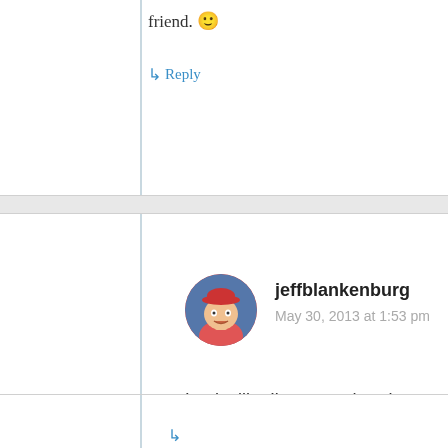friend. 🙂
↳ Reply
jeffblankenburg
May 30, 2013 at 1:53 pm
Looks like I've got to head down to Cincy and visit the IKEA now. Thanks, Jason.
↳ Reply